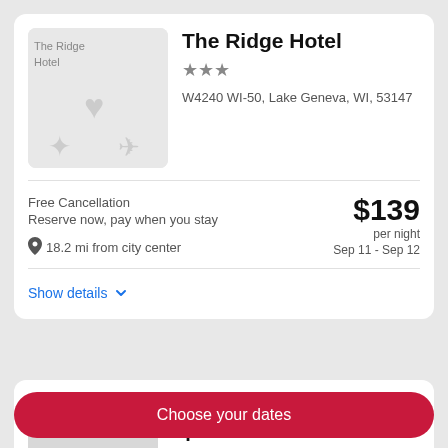[Figure (photo): Hotel image placeholder for The Ridge Hotel showing broken image icon with heart and travel icons]
The Ridge Hotel
★★★
W4240 WI-50, Lake Geneva, WI, 53147
Free Cancellation
Reserve now, pay when you stay
18.2 mi from city center
$139 per night
Sep 11 - Sep 12
Show details
[Figure (photo): Hotel image placeholder for Abbey Resort and Avani Spa]
Abbey Resort and Avani Spa
★★★½
Choose your dates